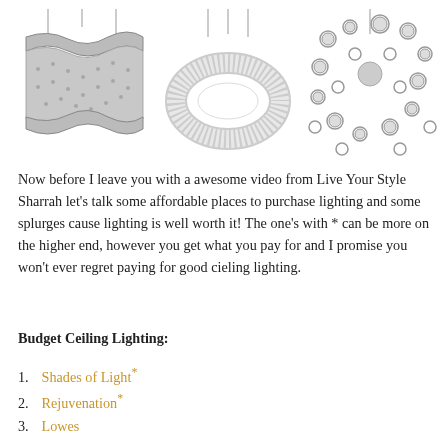[Figure (photo): Three decorative ceiling light fixtures: a wave-shaped crystal chandelier on the left, a circular ring pendant light in the center, and a cluster/sputnik-style chandelier with many circular disc elements on the right.]
Now before I leave you with a awesome video from Live Your Style Sharrah let's talk some affordable places to purchase lighting and some splurges cause lighting is well worth it! The one's with * can be more on the higher end, however you get what you pay for and I promise you won't ever regret paying for good cieling lighting.
Budget Ceiling Lighting:
1. Shades of Light*
2. Rejuvenation*
3. Lowes